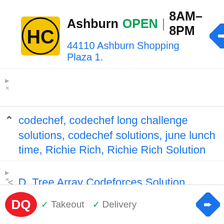[Figure (screenshot): Advertisement banner for HC (Hair Club or similar) store in Ashburn showing logo, OPEN status, hours 8AM-8PM, address 44110 Ashburn Shopping Plaza 1., and navigation icon]
codechef, codechef long challenge solutions, codechef solutions, june lunch time, Richie Rich, Richie Rich Solution
D. Tree Array Codeforces Solution
False Number Codechef Solution
Leave a Comment
[Figure (screenshot): Advertisement banner for Dairy Queen (DQ) showing logo, Takeout and Delivery options with checkmarks, and navigation icon]